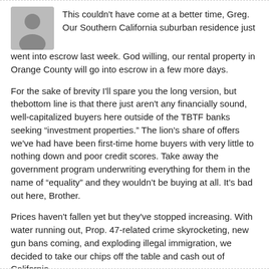[Figure (illustration): Grey silhouette avatar icon of a generic person, square with rounded corners]
This couldn't have come at a better time, Greg. Our Southern California suburban residence just went into escrow last week. God willing, our rental property in Orange County will go into escrow in a few more days.
For the sake of brevity I'll spare you the long version, but thebottom line is that there just aren't any financially sound, well-capitalized buyers here outside of the TBTF banks seeking “investment properties.” The lion's share of offers we've had have been first-time home buyers with very little to nothing down and poor credit scores. Take away the government program underwriting everything for them in the name of “equality” and they wouldn't be buying at all. It's bad out here, Brother.
Prices haven't fallen yet but they've stopped increasing. With water running out, Prop. 47-related crime skyrocketing, new gun bans coming, and exploding illegal immigration, we decided to take our chips off the table and cash out of California.
This state is doomed, doomed, doomed…